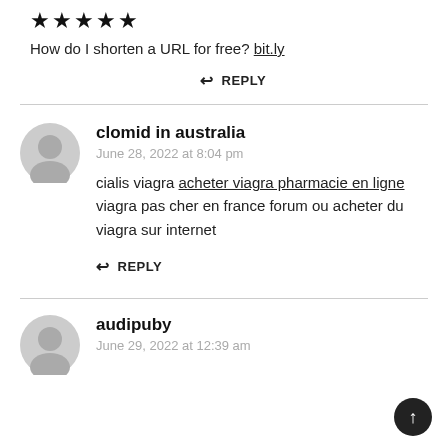★★★★★
How do I shorten a URL for free? bit.ly
↩ REPLY
clomid in australia
June 28, 2022 at 8:04 pm
cialis viagra acheter viagra pharmacie en ligne viagra pas cher en france forum ou acheter du viagra sur internet
↩ REPLY
audipuby
June 29, 2022 at 12:39 am